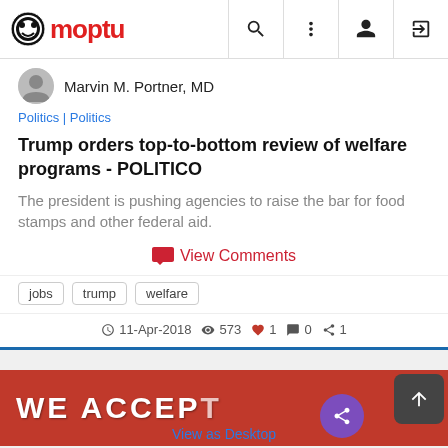Moptu
Marvin M. Portner, MD
Politics | Politics
Trump orders top-to-bottom review of welfare programs - POLITICO
The president is pushing agencies to raise the bar for food stamps and other federal aid.
View Comments
jobs
trump
welfare
11-Apr-2018  573  1  0  1
[Figure (photo): Partial image showing a red sign with white text reading WE ACCEPT]
View as Desktop